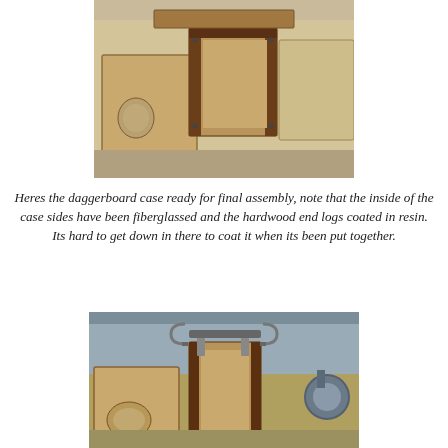[Figure (photo): Wooden daggerboard case parts laid out on a light wood surface, showing two plywood side panels with oval cutouts and a rectangular frame component, ready for assembly.]
Heres the daggerboard case ready for final assembly, note that the inside of the case sides have been fiberglassed and the hardwood end logs coated in resin. Its hard to get down in there to coat it when its been put together.
[Figure (photo): Daggerboard case being assembled in a workshop with clamps holding the components together, showing the plywood sides with oval cutouts and the rectangular case structure, tools and equipment visible in background.]